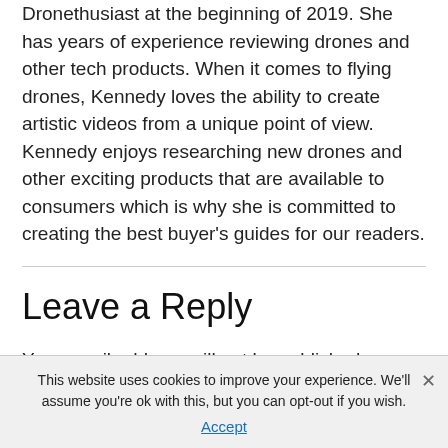Dronethusiast at the beginning of 2019. She has years of experience reviewing drones and other tech products. When it comes to flying drones, Kennedy loves the ability to create artistic videos from a unique point of view. Kennedy enjoys researching new drones and other exciting products that are available to consumers which is why she is committed to creating the best buyer's guides for our readers.
Leave a Reply
Your email address will not be published. Required fields are marked *
This website uses cookies to improve your experience. We'll assume you're ok with this, but you can opt-out if you wish. Accept